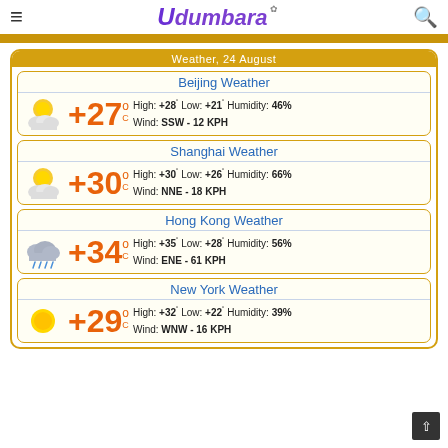Udumbara
Weather, 24 August
Beijing Weather
+27°C High: +28° Low: +21° Humidity: 46% Wind: SSW - 12 KPH
Shanghai Weather
+30°C High: +30° Low: +26° Humidity: 66% Wind: NNE - 18 KPH
Hong Kong Weather
+34°C High: +35° Low: +28° Humidity: 56% Wind: ENE - 61 KPH
New York Weather
+29°C High: +32° Low: +22° Humidity: 39% Wind: WNW - 16 KPH